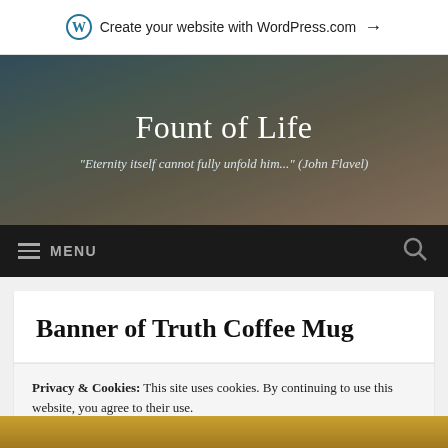Create your website with WordPress.com →
Fount of Life
"Eternity itself cannot fully unfold him..." (John Flavel)
≡ MENU
Banner of Truth Coffee Mug
Privacy & Cookies: This site uses cookies. By continuing to use this website, you agree to their use.
To find out more, including how to control cookies, see here: Cookie Policy
Close and accept
[Figure (photo): Bottom portion of a coffee mug photo, showing yellow/gold coloring]